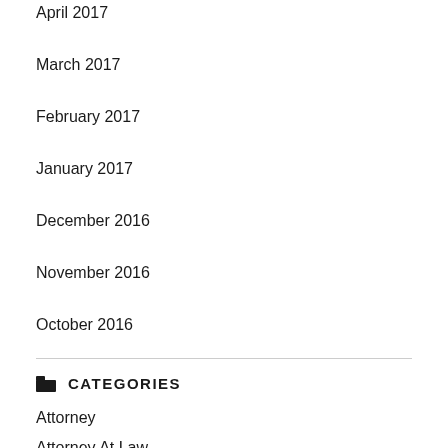April 2017
March 2017
February 2017
January 2017
December 2016
November 2016
October 2016
CATEGORIES
Attorney
Attorney At Law